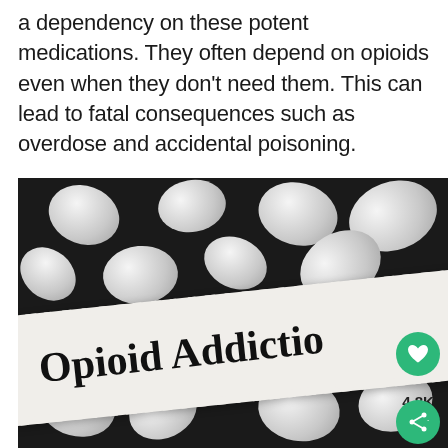a dependency on these potent medications. They often depend on opioids even when they don't need them. This can lead to fatal consequences such as overdose and accidental poisoning.
[Figure (photo): Close-up photo of white oval pills scattered on a dark background, with a torn piece of paper in the foreground reading 'Opioid Addictio' (partially visible). The image has interactive UI elements: a green heart/like button showing 4.8K likes, and a green share button.]